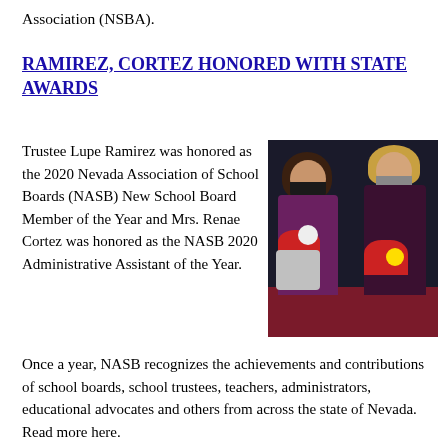Association (NSBA).
RAMIREZ, CORTEZ HONORED WITH STATE AWARDS
Trustee Lupe Ramirez was honored as the 2020 Nevada Association of School Boards (NASB) New School Board Member of the Year and Mrs. Renae Cortez was honored as the NASB 2020 Administrative Assistant of the Year.
[Figure (photo): Two women wearing face masks standing and holding bouquets of flowers at an awards ceremony.]
Once a year, NASB recognizes the achievements and contributions of school boards, school trustees, teachers, administrators, educational advocates and others from across the state of Nevada. Read more here.